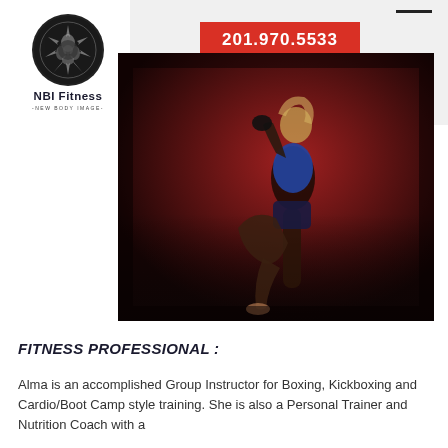[Figure (logo): NBI Fitness circular logo with decorative design, text reads 'NBI Fitness - NEW BODY IMAGE -']
201.970.5533
[Figure (photo): A female athlete performing a high kick against a dark red background, wearing blue athletic wear]
FITNESS PROFESSIONAL :
Alma is an accomplished Group Instructor for Boxing, Kickboxing and Cardio/Boot Camp style training. She is also a Personal Trainer and Nutrition Coach with a